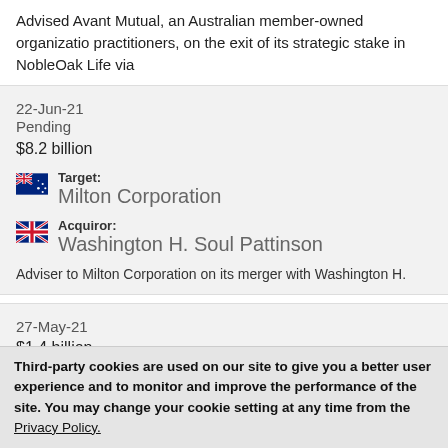Advised Avant Mutual, an Australian member-owned organization practitioners, on the exit of its strategic stake in NobleOak Life via
22-Jun-21
Pending
$8.2 billion
Target: Milton Corporation
Acquiror: Washington H. Soul Pattinson
Adviser to Milton Corporation on its merger with Washington H.
27-May-21
$1.4 billion
Target:
Third-party cookies are used on our site to give you a better user experience and to monitor and improve the performance of the site.  You may change your cookie setting at any time from the Privacy Policy.